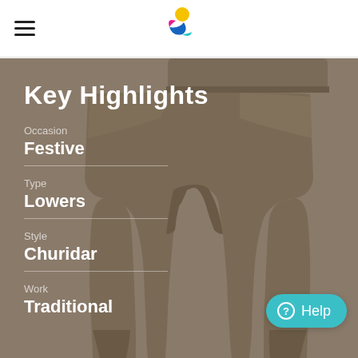Navigation header with hamburger menu, search, logo, heart/wishlist, and bag icons
[Figure (photo): Brown churidar lowers garment displayed against a grey background, showing the full length of the pants from waist to ankle]
Key Highlights
Occasion
Festive
Type
Lowers
Style
Churidar
Work
Traditional